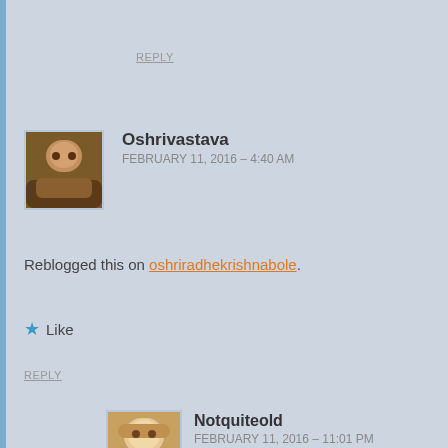REPLY
Oshrivastava
FEBRUARY 11, 2016 – 4:40 AM
Reblogged this on oshriradhekrishnabole.
Like
REPLY
Notquiteold
FEBRUARY 11, 2016 – 11:01 PM
thanks for the reblog
Liked by 1 person
REPLY